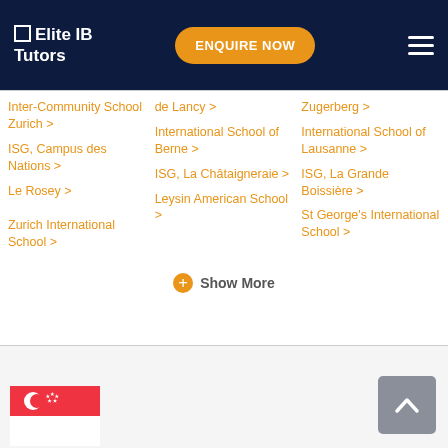Elite IB Tutors — ENQUIRE NOW navigation header
de Lancy >
Zugerberg >
Inter-Community School Zurich >
International School of Berne >
International School of Lausanne >
ISG, Campus des Nations >
ISG, La Châtaigneraie >
ISG, La Grande Boissière >
Le Rosey >
Leysin American School >
St George's International School >
Zurich International School >
Show More
Singapore flag and back to top button